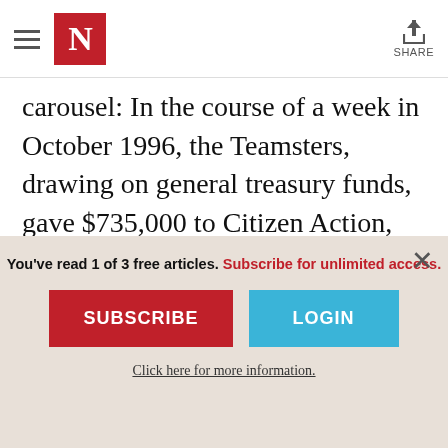The Nation — Navigation header with logo N and Share button
carousel: In the course of a week in October 1996, the Teamsters, drawing on general treasury funds, gave $735,000 to Citizen Action, Project Vote and the National Council of Senior Citizens, progressive advocacy groups mobilizing voters against the Republican-controlled Congress. There was nothing improper about the union making
You've read 1 of 3 free articles. Subscribe for unlimited access.
SUBSCRIBE
LOGIN
Click here for more information.